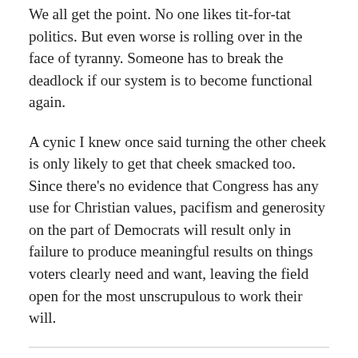We all get the point. No one likes tit-for-tat politics. But even worse is rolling over in the face of tyranny. Someone has to break the deadlock if our system is to become functional again.
A cynic I knew once said turning the other cheek is only likely to get that cheek smacked too. Since there’s no evidence that Congress has any use for Christian values, pacifism and generosity on the part of Democrats will result only in failure to produce meaningful results on things voters clearly need and want, leaving the field open for the most unscrupulous to work their will.
Share this:
Twitter  Facebook